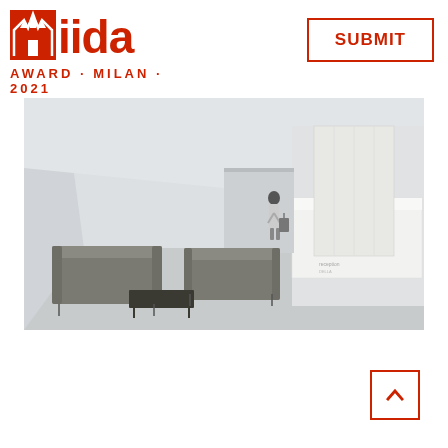[Figure (logo): IIDA Award Milan 2021 logo with red cathedral icon and bold red 'iida' text, subtitle 'AWARD·MILAN·2021']
SUBMIT
[Figure (photo): Interior design rendering of a minimalist lobby/reception space with grey sofas, coffee table, standing figure, and white reception desk in a large open room with high ceilings]
[Figure (other): Back to top navigation button with upward chevron arrow, red border]